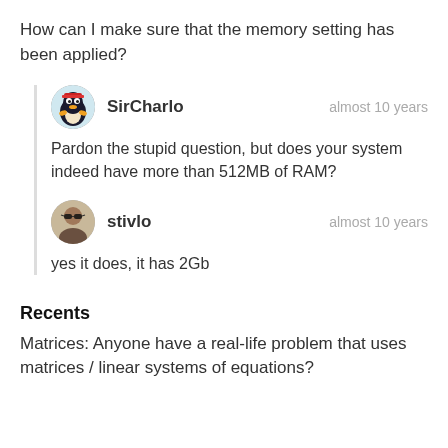How can I make sure that the memory setting has been applied?
SirCharlo — almost 10 years
Pardon the stupid question, but does your system indeed have more than 512MB of RAM?
stivlo — almost 10 years
yes it does, it has 2Gb
Recents
Matrices: Anyone have a real-life problem that uses matrices / linear systems of equations?